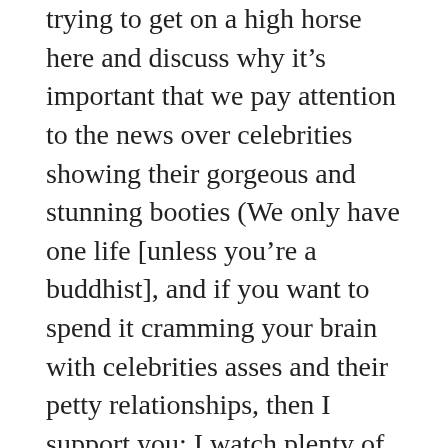trying to get on a high horse here and discuss why it's important that we pay attention to the news over celebrities showing their gorgeous and stunning booties (We only have one life [unless you're a buddhist], and if you want to spend it cramming your brain with celebrities asses and their petty relationships, then I support you; I watch plenty of ESPN), but what really just shocks me is that we still don't care that our data is being harvested like Monsanto corn and that we still don't see this massive data collection as an invasion of privacy.
I actually argued this in a Salon article I wrote after I heard that our government admitted to the existence of Area 51, and I'm still trying to